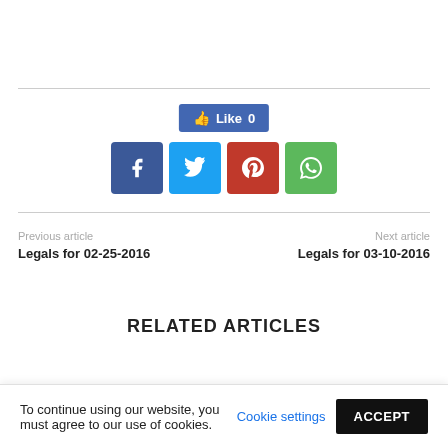[Figure (other): Facebook Like button showing count of 0]
[Figure (other): Social share icons: Facebook, Twitter, Pinterest, WhatsApp]
Previous article
Legals for 02-25-2016
Next article
Legals for 03-10-2016
RELATED ARTICLES
To continue using our website, you must agree to our use of cookies.
Cookie settings
ACCEPT